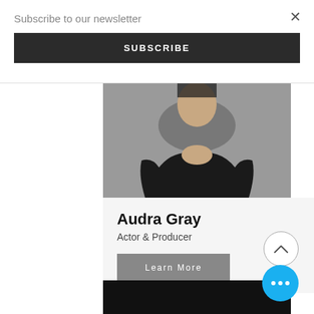Subscribe to our newsletter
SUBSCRIBE
[Figure (photo): Partial photo of a person wearing a black v-neck top, cropped at the shoulders, against a grey background]
Audra Gray
Actor & Producer
Learn More
[Figure (photo): Partial photo of a bald Black man against a dark/black background, cropped at the lower face area]